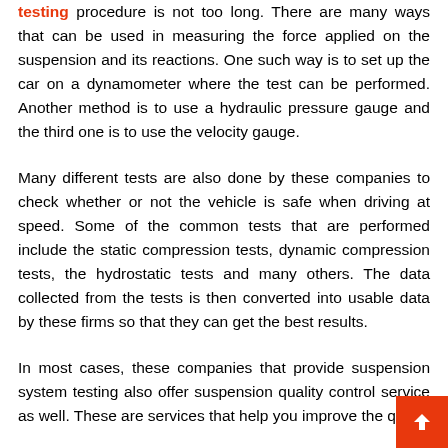testing procedure is not too long. There are many ways that can be used in measuring the force applied on the suspension and its reactions. One such way is to set up the car on a dynamometer where the test can be performed. Another method is to use a hydraulic pressure gauge and the third one is to use the velocity gauge.
Many different tests are also done by these companies to check whether or not the vehicle is safe when driving at speed. Some of the common tests that are performed include the static compression tests, dynamic compression tests, the hydrostatic tests and many others. The data collected from the tests is then converted into usable data by these firms so that they can get the best results.
In most cases, these companies that provide suspension system testing also offer suspension quality control service as well. These are services that help you improve the quali